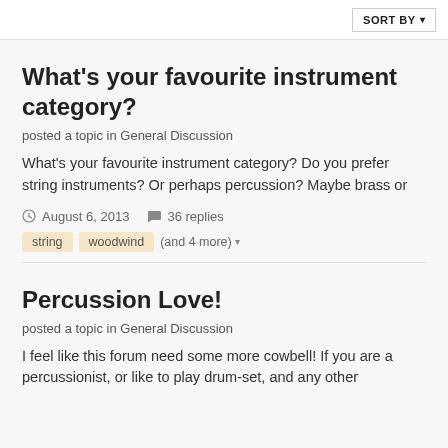SORT BY ▾
What's your favourite instrument category?
posted a topic in General Discussion
What's your favourite instrument category? Do you prefer string instruments? Or perhaps percussion? Maybe brass or
August 6, 2013   36 replies
string   woodwind   (and 4 more)
Percussion Love!
posted a topic in General Discussion
I feel like this forum need some more cowbell! If you are a percussionist, or like to play drum-set, and any other